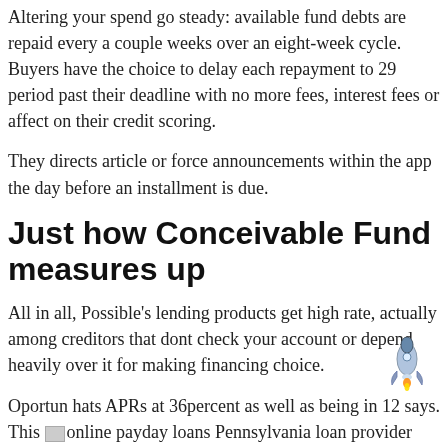Altering your spend go steady: available fund debts are repaid every a couple weeks over an eight-week cycle. Buyers have the choice to delay each repayment to 29 period past their deadline with no more fees, interest fees or affect on their credit scoring.
They directs article or force announcements within the app the day before an installment is due.
Just how Conceivable Fund measures up
All in all, Possible's lending products get high rate, actually among creditors that dont check your account or depend heavily over it for making financing choice.
Oportun hats APRs at 36percent as well as being in 12 says. This [online payday loans Pennsylvania] loan provider